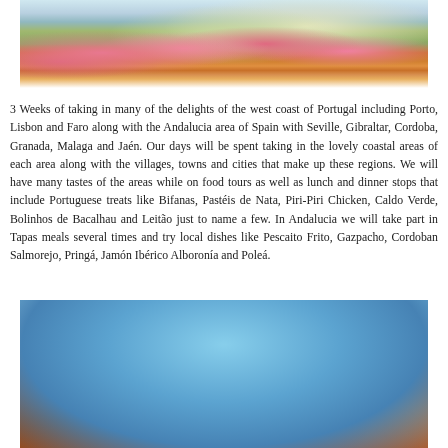[Figure (photo): Aerial view of a Portuguese coastal town with white buildings, orange terracotta roofs, pink flowering oleander plants and green foliage in the foreground, with rocky cliffs in the background]
3 Weeks of taking in many of the delights of the west coast of Portugal including Porto, Lisbon and Faro along with the Andalucia area of Spain with Seville, Gibraltar, Cordoba, Granada, Malaga and Jaén. Our days will be spent taking in the lovely coastal areas of each area along with the villages, towns and cities that make up these regions. We will have many tastes of the areas while on food tours as well as lunch and dinner stops that include Portuguese treats like Bifanas, Pastéis de Nata, Piri-Piri Chicken, Caldo Verde, Bolinhos de Bacalhau and Leitão just to name a few. In Andalucia we will take part in Tapas meals several times and try local dishes like Pescaito Frito, Gazpacho, Cordoban Salmorejo, Pringá, Jamón Ibérico Alboronía and Poleá.
[Figure (photo): Plaza de España in Seville, Spain, showing the ornate semicircular brick and tile building with towers under a bright blue sky with white clouds and a street lamp in the foreground]